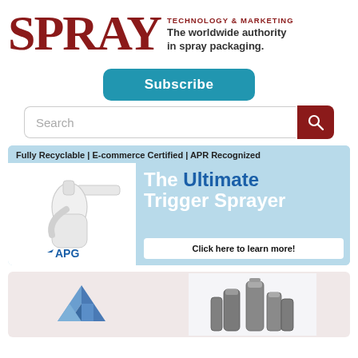[Figure (logo): SPRAY Technology & Marketing logo with red serif SPRAY text and tagline 'The worldwide authority in spray packaging.']
Subscribe
Search
[Figure (infographic): APG advertisement banner with light blue background. Text: 'Fully Recyclable | E-commerce Certified | APR Recognized'. Image of a white trigger sprayer on left. Right side text: 'The Ultimate Trigger Sprayer'. Button: 'Click here to learn more!']
[Figure (infographic): Bottom partial advertisement showing a blue geometric logo on pink/light background on the left, and metallic spray cans on the right.]